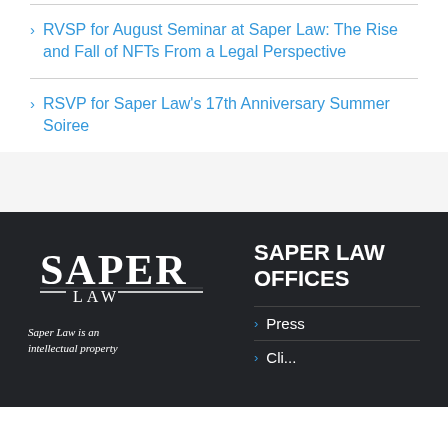RVSP for August Seminar at Saper Law: The Rise and Fall of NFTs From a Legal Perspective
RSVP for Saper Law's 17th Anniversary Summer Soiree
[Figure (logo): Saper Law logo in white on dark background]
Saper Law is an intellectual property
SAPER LAW OFFICES
Press
Cli...